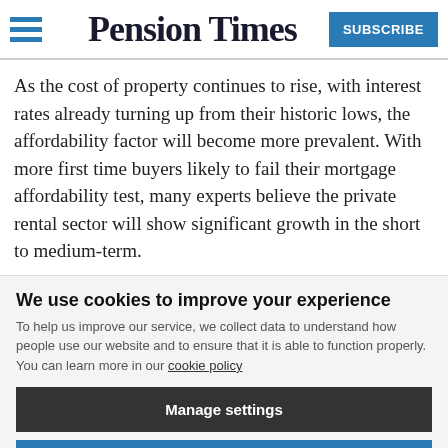Pension Times
As the cost of property continues to rise, with interest rates already turning up from their historic lows, the affordability factor will become more prevalent. With more first time buyers likely to fail their mortgage affordability test, many experts believe the private rental sector will show significant growth in the short to medium-term.
We use cookies to improve your experience
To help us improve our service, we collect data to understand how people use our website and to ensure that it is able to function properly. You can learn more in our cookie policy
Manage settings
Accept all